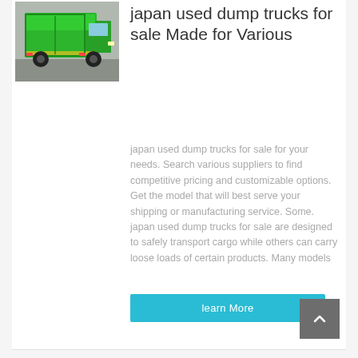[Figure (photo): Green dump truck photographed in a warehouse or indoor setting, viewed from the rear-side angle.]
japan used dump trucks for sale Made for Various
japan used dump trucks for sale for your needs. Search various suppliers to find competitive pricing and customizable options. Get the model that will best serve your shipping or manufacturing service. Some. japan used dump trucks for sale are designed to safely transport cargo while others can carry loose loads of certain products. Many models
learn More